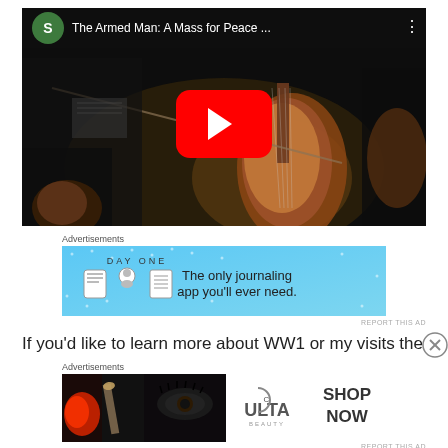[Figure (screenshot): YouTube video embed showing orchestra musicians playing cellos with a YouTube play button overlay. Title bar reads 'The Armed Man: A Mass for Peace ...' with a green avatar circle showing 'S']
Advertisements
[Figure (screenshot): DAY ONE app advertisement on blue background: 'DAY ONE - The only journaling app you'll ever need.' with app icons]
REPORT THIS AD
If you'd like to learn more about WW1 or my visits there d
Advertisements
[Figure (screenshot): ULTA beauty advertisement showing makeup images with 'SHOP NOW' button]